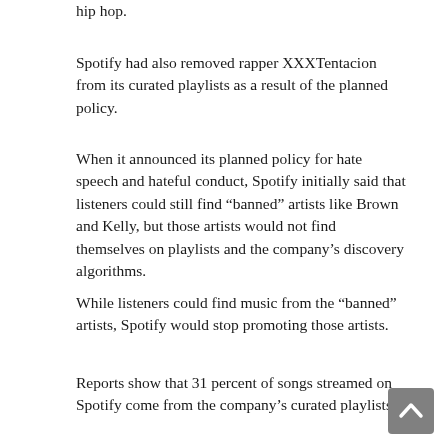hip hop.
Spotify had also removed rapper XXXTentacion from its curated playlists as a result of the planned policy.
When it announced its planned policy for hate speech and hateful conduct, Spotify initially said that listeners could still find “banned” artists like Brown and Kelly, but those artists would not find themselves on playlists and the company’s discovery algorithms.
While listeners could find music from the “banned” artists, Spotify would stop promoting those artists.
Reports show that 31 percent of songs streamed on Spotify come from the company’s curated playlists.